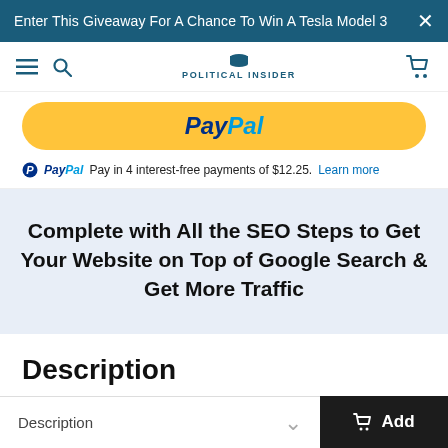Enter This Giveaway For A Chance To Win A Tesla Model 3
[Figure (logo): Political Insider logo with hamburger menu, search icon, and cart icon]
[Figure (other): PayPal checkout button (yellow rounded button with PayPal logo)]
PayPal Pay in 4 interest-free payments of $12.25. Learn more
Complete with All the SEO Steps to Get Your Website on Top of Google Search & Get More Traffic
Description
Description  Add